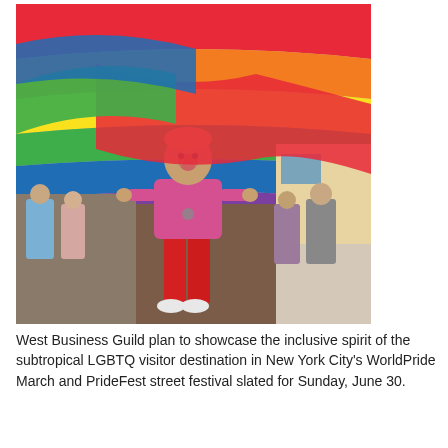[Figure (photo): A person in a pink shirt and red pants smiling and walking under a large rainbow pride flag during a street parade. Many other participants are visible in the background on a city street.]
West Business Guild plan to showcase the inclusive spirit of the subtropical LGBTQ visitor destination in New York City's WorldPride March and PrideFest street festival slated for Sunday, June 30.